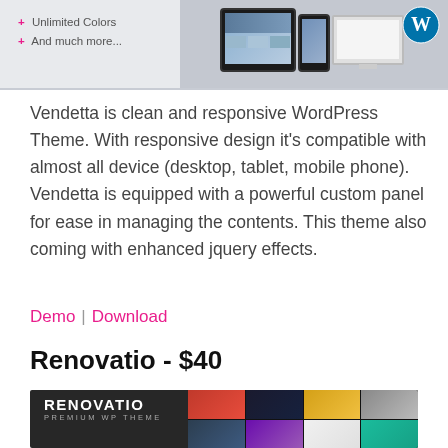[Figure (screenshot): Top banner showing device mockups (tablet, phone, monitor) on a grey background with a WordPress logo circle icon, and text listing features including 'Unlimited Colors' and 'And much more...']
Vendetta is clean and responsive WordPress Theme. With responsive design it's compatible with almost all device (desktop, tablet, mobile phone). Vendetta is equipped with a powerful custom panel for ease in managing the contents. This theme also coming with enhanced jquery effects.
Demo | Download
Renovatio - $40
[Figure (screenshot): Dark-themed Renovatio Premium WP Theme banner showing 'RENOVATIO PREMIUM WP THEME' text on dark left side, with a grid collage of colorful image thumbnails and a laptop/device mockup on the right.]